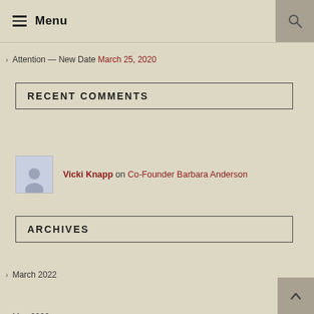Menu
Attention — New Date March 25, 2020
RECENT COMMENTS
Vicki Knapp on Co-Founder Barbara Anderson
ARCHIVES
March 2022
May 2020